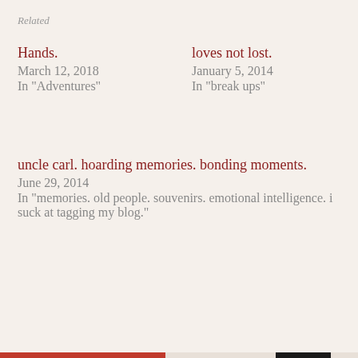Related
Hands.
March 12, 2018
In "Adventures"
loves not lost.
January 5, 2014
In "break ups"
uncle carl. hoarding memories. bonding moments.
June 29, 2014
In "memories. old people. souvenirs. emotional intelligence. i suck at tagging my blog."
Privacy & Cookies: This site uses cookies. By continuing to use this website, you agree to their use.
To find out more, including how to control cookies, see here:
Cookie Policy
Close and accept